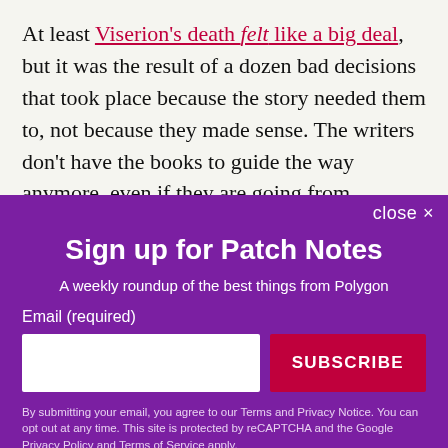At least Viserion's death felt like a big deal, but it was the result of a dozen bad decisions that took place because the story needed them to, not because they made sense. The writers don't have the books to guide the way anymore, even if they are going from Martin's outline. The result is a show that feels like it keeps cornering itself, while running out of ways to
close ✕
Sign up for Patch Notes
A weekly roundup of the best things from Polygon
Email (required)
SUBSCRIBE
By submitting your email, you agree to our Terms and Privacy Notice. You can opt out at any time. This site is protected by reCAPTCHA and the Google Privacy Policy and Terms of Service apply.